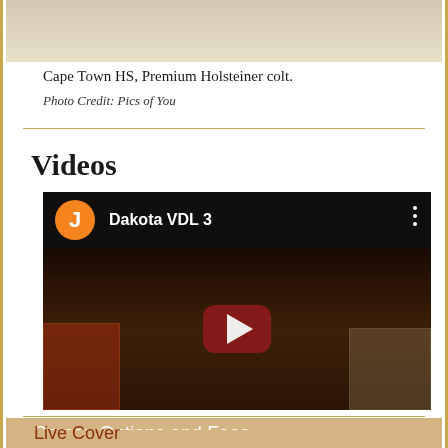Cape Town HS, Premium Holsteiner colt.
Photo Credit: Pics of You
Videos
[Figure (screenshot): YouTube video thumbnail showing 'Dakota VDL 3' with orange J avatar icon, red play button in center, dark equestrian jumping scene in background]
Semen Options and Fees
Live Cover